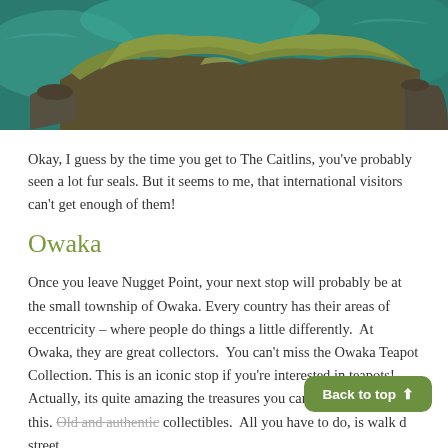[Figure (photo): Aerial view of rocky coastal headland with green vegetation and turquoise sea water around The Catlins, New Zealand]
Okay, I guess by the time you get to The Caitlins, you've probably seen a lot fur seals. But it seems to me, that international visitors can't get enough of them!
Owaka
Once you leave Nugget Point, your next stop will probably be at the small township of Owaka. Every country has their areas of eccentricity – where people do things a little differently.  At Owaka, they are great collectors.  You can't miss the Owaka Teapot Collection. This is an iconic stop if you're interested in teapots! Actually, its quite amazing the treasures you can find in places like this. Old and authentic collectibles.  All you have to do, is walk d street.